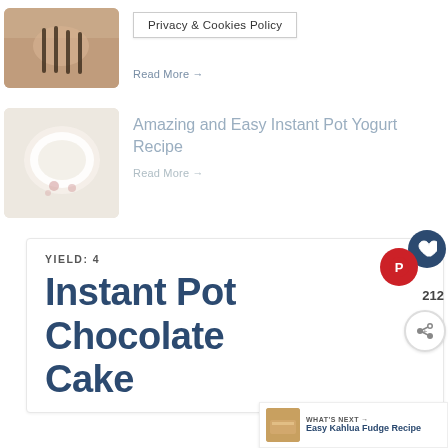Privacy & Cookies Policy
Read More →
Amazing and Easy Instant Pot Yogurt Recipe
Read More →
YIELD: 4
Instant Pot Chocolate Cake
212
WHAT'S NEXT → Easy Kahlua Fudge Recipe